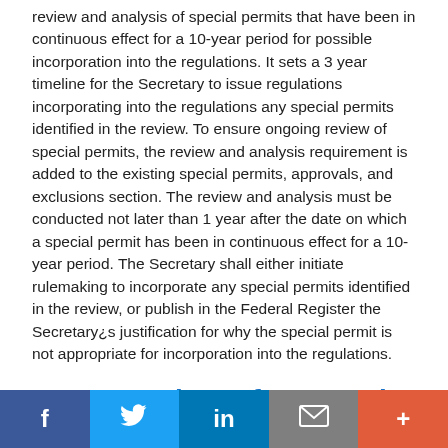review and analysis of special permits that have been in continuous effect for a 10-year period for possible incorporation into the regulations. It sets a 3 year timeline for the Secretary to issue regulations incorporating into the regulations any special permits identified in the review. To ensure ongoing review of special permits, the review and analysis requirement is added to the existing special permits, approvals, and exclusions section. The review and analysis must be conducted not later than 1 year after the date on which a special permit has been in continuous effect for a 10-year period. The Secretary shall either initiate rulemaking to incorporate any special permits identified in the review, or publish in the Federal Register the Secretary¿s justification for why the special permit is not appropriate for incorporation into the regulations.
Motor Carrier Safety Permits
Motor Carrier Safety Permits. This is a free-standing